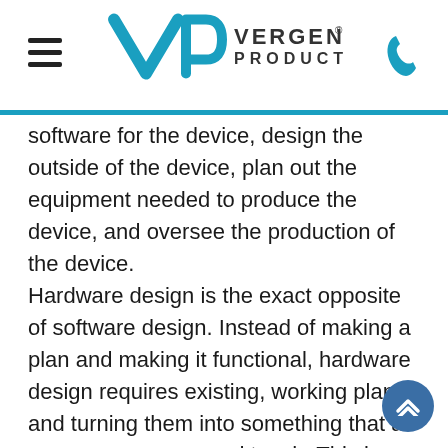Vergent Products
software for the device, design the outside of the device, plan out the equipment needed to produce the device, and oversee the production of the device.
Hardware design is the exact opposite of software design. Instead of making a plan and making it functional, hardware design requires existing, working plans and turning them into something that a user can use, see and touch. This is a much more technical field and requires a fair amount of education. Just as there are